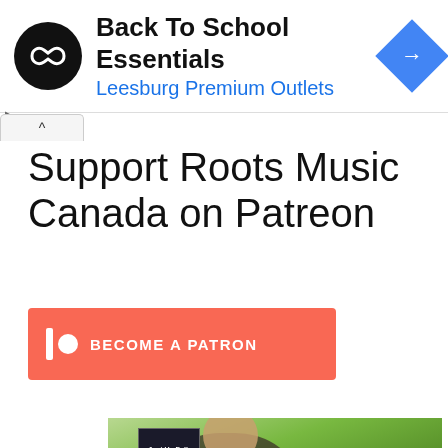[Figure (other): Advertisement banner: 'Back To School Essentials' with Leesburg Premium Outlets, showing circular black logo with infinity-like symbol and blue diamond navigation icon]
Support Roots Music Canada on Patreon
[Figure (other): Patreon 'Become a Patron' button in salmon/coral color with Patreon icon and white text]
[Figure (photo): Thumbnail image of a man holding a CD/album with forest background, overlaid with text 'Just Us Folk - We Shift And Remain']